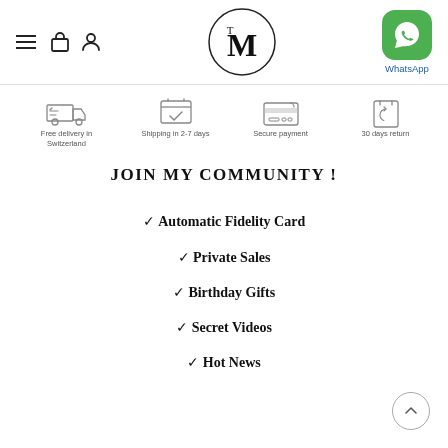Navigation with hamburger, bag, user icons; M logo; WhatsApp
[Figure (infographic): Four benefit icons row: Free delivery in Switzerland, Shipping in 2-7 days, Secure payment, 30 days return]
JOIN MY COMMUNITY !
Automatic Fidelity Card
Private Sales
Birthday Gifts
Secret Videos
Hot News